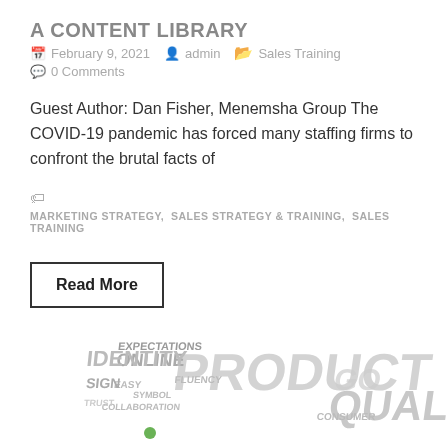A CONTENT LIBRARY
February 9, 2021   admin   Sales Training   0 Comments
Guest Author: Dan Fisher, Menemsha Group The COVID-19 pandemic has forced many staffing firms to confront the brutal facts of
MARKETING STRATEGY, SALES STRATEGY & TRAINING, SALES TRAINING
Read More
[Figure (photo): 3D word cloud image with words including PRODUCT, QUALITY, ONLINE, EXPECTATIONS, IDENTITY, SIGN, and others related to sales/marketing concepts]